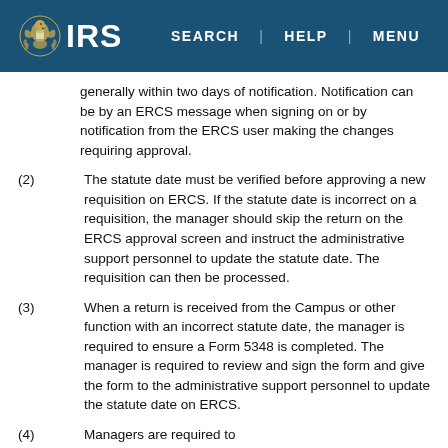IRS | SEARCH | HELP | MENU
generally within two days of notification. Notification can be by an ERCS message when signing on or by notification from the ERCS user making the changes requiring approval.
(2) The statute date must be verified before approving a new requisition on ERCS. If the statute date is incorrect on a requisition, the manager should skip the return on the ERCS approval screen and instruct the administrative support personnel to update the statute date. The requisition can then be processed.
(3) When a return is received from the Campus or other function with an incorrect statute date, the manager is required to ensure a Form 5348 is completed. The manager is required to review and sign the form and give the form to the administrative support personnel to update the statute date on ERCS.
(4) Managers are required to ...